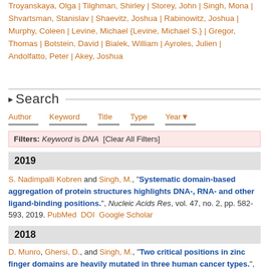Troyanskaya, Olga | Tilghman, Shirley | Storey, John | Singh, Mona | Shvartsman, Stanislav | Shaevitz, Joshua | Rabinowitz, Joshua | Murphy, Coleen | Levine, Michael {Levine, Michael S.} | Gregor, Thomas | Botstein, David | Bialek, William | Ayroles, Julien | Andolfatto, Peter | Akey, Joshua
Search
Author  Keyword  Title  Type  Year
Filters: Keyword is DNA  [Clear All Filters]
2019
S. Nadimpalli Kobren and Singh, M., "Systematic domain-based aggregation of protein structures highlights DNA-, RNA- and other ligand-binding positions.", Nucleic Acids Res, vol. 47, no. 2, pp. 582-593, 2019. PubMed  DOI  Google Scholar
2018
D. Munro, Ghersi, D., and Singh, M., "Two critical positions in zinc finger domains are heavily mutated in three human cancer types.", PLoS Comput Biol, vol. 14, no. 6, p. e1006290,